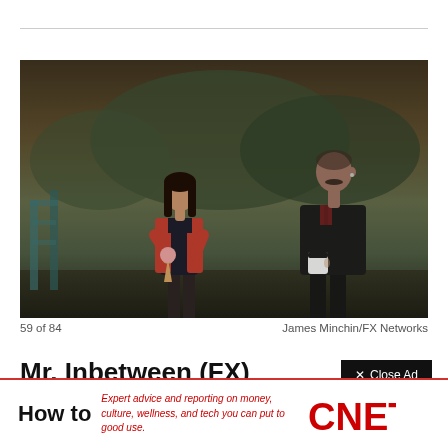[Figure (photo): A young girl holding an ice cream cone wearing a red cardigan and floral dress, and a tall man with a mustache holding a coffee cup wearing a black jacket, standing outdoors near playground equipment with trees in background.]
59 of 84	James Minchin/FX Networks
Mr. Inbetween (FX)
[Figure (screenshot): Close Ad button (black rectangle with X and text 'Close Ad') and CNET advertisement with tagline 'Expert advice and reporting on money, culture, wellness, and tech you can put to good use.' with CNET logo in red.]
How to
Expert advice and reporting on money, culture, wellness, and tech you can put to good use.